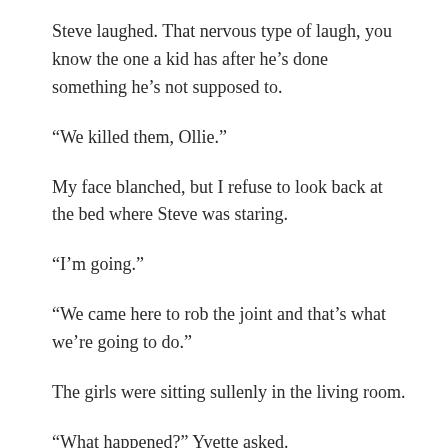Steve laughed. That nervous type of laugh, you know the one a kid has after he’s done something he’s not supposed to.
“We killed them, Ollie.”
My face blanched, but I refuse to look back at the bed where Steve was staring.
“I’m going.”
“We came here to rob the joint and that’s what we’re going to do.”
The girls were sitting sullenly in the living room.
“What happened?” Yvette asked.